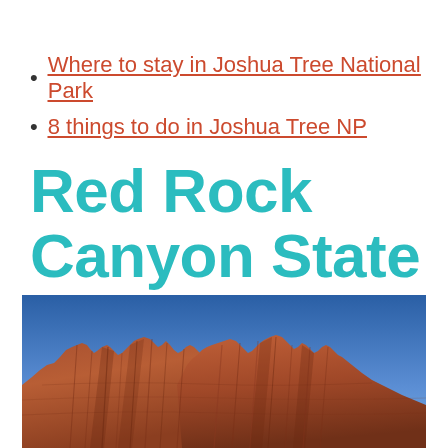Where to stay in Joshua Tree National Park
8 things to do in Joshua Tree NP
Red Rock Canyon State Park
[Figure (photo): Looking up at tall red rock canyon cliff formations with layered sedimentary rock against a deep blue sky]